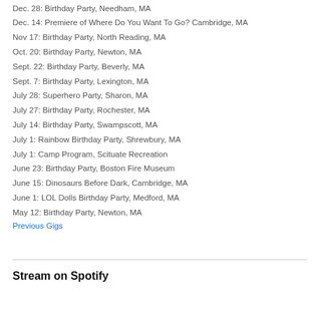Dec. 28: Birthday Party, Needham, MA
Dec. 14: Premiere of Where Do You Want To Go? Cambridge, MA
Nov 17: Birthday Party, North Reading, MA
Oct. 20: Birthday Party, Newton, MA
Sept. 22: Birthday Party, Beverly, MA
Sept. 7: Birthday Party, Lexington, MA
July 28: Superhero Party, Sharon, MA
July 27: Birthday Party, Rochester, MA
July 14: Birthday Party, Swampscott, MA
July 1: Rainbow Birthday Party, Shrewbury, MA
July 1: Camp Program, Scituate Recreation
June 23: Birthday Party, Boston Fire Museum
June 15: Dinosaurs Before Dark, Cambridge, MA
June 1: LOL Dolls Birthday Party, Medford, MA
May 12: Birthday Party, Newton, MA
Previous Gigs
Stream on Spotify